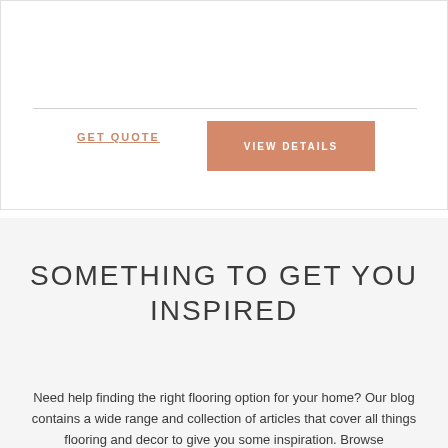GET QUOTE
VIEW DETAILS
SOMETHING TO GET YOU INSPIRED
Need help finding the right flooring option for your home? Our blog contains a wide range and collection of articles that cover all things flooring and decor to give you some inspiration. Browse